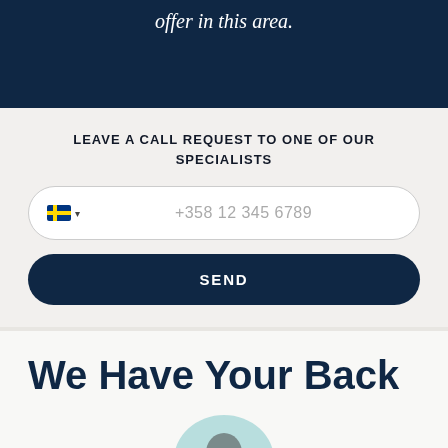offer in this area.
LEAVE A CALL REQUEST TO ONE OF OUR SPECIALISTS
[Figure (other): Phone number input field with Finnish flag country selector and placeholder text +358 12 345 6789]
SEND
We Have Your Back
[Figure (photo): Person avatar/headshot in a light teal circular crop, partially visible at bottom]